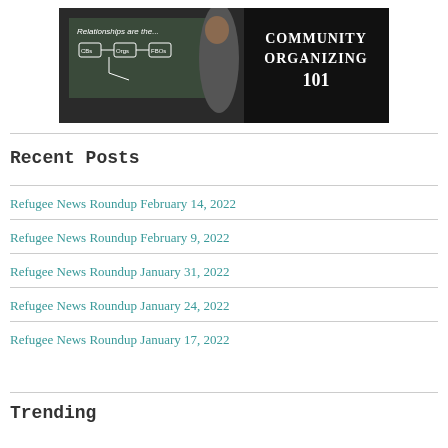[Figure (photo): Banner image showing a man writing on a chalkboard with diagram, and text 'Community Organizing 101' on dark background]
Recent Posts
Refugee News Roundup February 14, 2022
Refugee News Roundup February 9, 2022
Refugee News Roundup January 31, 2022
Refugee News Roundup January 24, 2022
Refugee News Roundup January 17, 2022
Trending